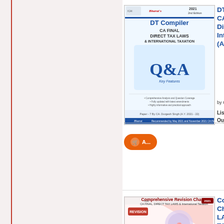[Figure (illustration): Book cover: DT Compiler CA Final Direct Tax Laws & International Taxation Q&A, 2021 2nd Edition, by CA. Durgesh Singh (A.Y. 2021-22), Bharat publication]
DT Compiler CA Final Direct Tax Laws & International Taxation (A.Y. ...)
by CA. ...
List P...
Our P...
[Figure (illustration): Book cover: Comprehensive Revision Charts CA Final Direct Tax Laws & International Taxation, by CA. Anand Bhangariya]
Comprehensive Revision Charts Direct Tax LAWS & International TAXATION (15...)